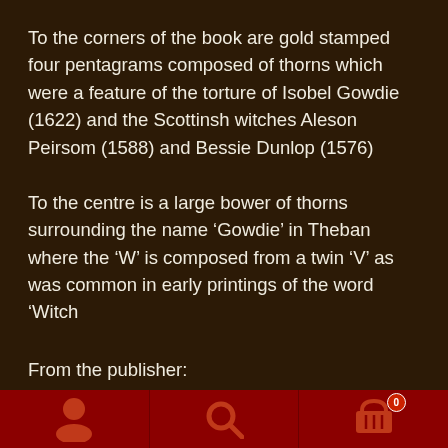To the corners of the book are gold stamped four pentagrams composed of thorns which were a feature of the torture of Isobel Gowdie (1622) and the Scottinsh witches Aleson Peirsom (1588) and Bessie Dunlop (1576)
To the centre is a large bower of thorns surrounding the name ‘Gowdie’ in Theban where the ‘W’ is composed from a twin ‘V’ as was common in early printings of the word ‘Witch
From the publisher:
[Figure (infographic): Dark red navigation footer bar with three sections: user/person icon on left, search/magnifying glass icon in center, shopping cart icon with badge showing '0' on right]